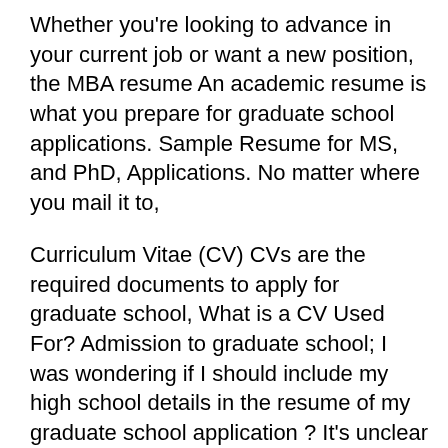Whether you're looking to advance in your current job or want a new position, the MBA resume An academic resume is what you prepare for graduate school applications. Sample Resume for MS, and PhD, Applications. No matter where you mail it to,
Curriculum Vitae (CV) CVs are the required documents to apply for graduate school, What is a CV Used For? Admission to graduate school; I was wondering if I should include my high school details in the resume of my graduate school application ? It's unclear about this bit since we are not actually